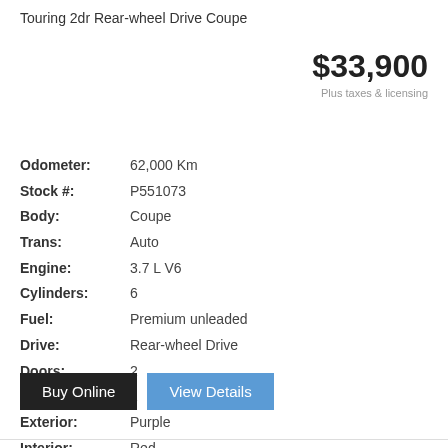Touring 2dr Rear-wheel Drive Coupe
$33,900
Plus taxes & licensing
Odometer: 62,000 Km
Stock #: P551073
Body: Coupe
Trans: Auto
Engine: 3.7 L V6
Cylinders: 6
Fuel: Premium unleaded
Drive: Rear-wheel Drive
Doors: 2
Seats: 2
Exterior: Purple
Interior: Red
Buy Online
View Details